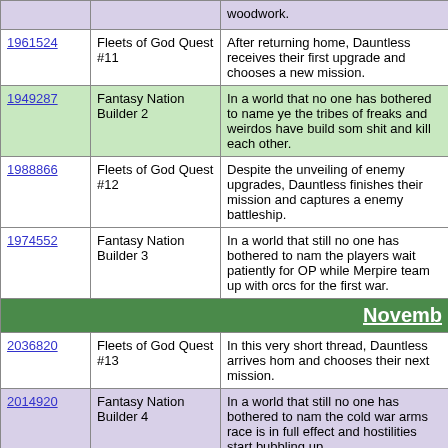| ID | Title | Description |
| --- | --- | --- |
| woodwork. (partial) |  |  |
| 1961524 | Fleets of God Quest #11 | After returning home, Dauntless receives their first upgrade and chooses a new mission. |
| 1949287 | Fantasy Nation Builder 2 | In a world that no one has bothered to name ye the tribes of freaks and weirdos have build som shit and kill each other. |
| 1988866 | Fleets of God Quest #12 | Despite the unveiling of enemy upgrades, Dauntless finishes their mission and captures a enemy battleship. |
| 1974552 | Fantasy Nation Builder 3 | In a world that still no one has bothered to nam the players wait patiently for OP while Merpire team up with orcs for the first war. |
| November (header) |  |  |
| 2036820 | Fleets of God Quest #13 | In this very short thread, Dauntless arrives hom and chooses their next mission. |
| 2014920 | Fantasy Nation Builder 4 | In a world that still no one has bothered to nam the cold war arms race is in full effect and hostilities start bubbling up... |
| 2050112 | What Came Next 12: What Came Before | Nothing bad happens as we flashback to a red haired teenager on her first date. |
| 2052973 | Fantasy Nation Builder 5 | In a world that still no one has bothered to nam WW1 is about to start and OP mysteriously vanishes... |